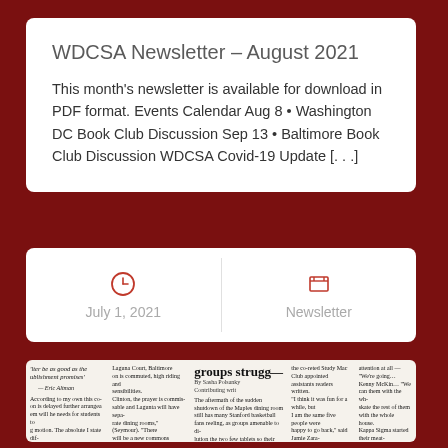WDCSA Newsletter – August 2021
This month's newsletter is available for download in PDF format. Events Calendar Aug 8 • Washington DC Book Club Discussion Sep 13 • Baltimore Book Club Discussion WDCSA Covid-19 Update [. . .]
July 1, 2021
Newsletter
[Figure (photo): Partial view of a newspaper article with headline 'groups strug—' and a byline by Sasha Polansky. Columns of small newspaper text visible.]